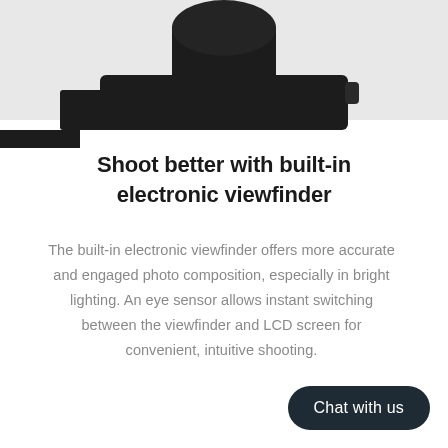[Figure (photo): Camera product photo showing a black camera body with cylindrical lens mount/viewfinder on top, viewed from above on a light gray background]
Shoot better with built-in electronic viewfinder
The built-in electronic viewfinder offers more accurate and engaged photo composition, especially in bright lighting. An eye sensor allows instant switching between the viewfinder and LCD screen for convenient, intuitive shooting.
Chat with us